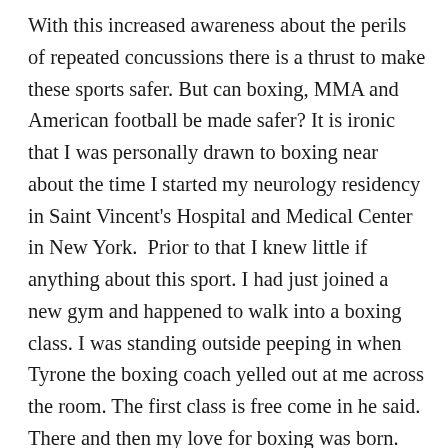With this increased awareness about the perils of repeated concussions there is a thrust to make these sports safer. But can boxing, MMA and American football be made safer? It is ironic that I was personally drawn to boxing near about the time I started my neurology residency in Saint Vincent's Hospital and Medical Center in New York.  Prior to that I knew little if anything about this sport. I had just joined a new gym and happened to walk into a boxing class. I was standing outside peeping in when Tyrone the boxing coach yelled out at me across the room. The first class is free come in he said. There and then my love for boxing was born. Since that fateful day 7 years ago, I have grown to love this sport. I have been boxing on and off since then, yes at times I spar usually with boxers who I know won't throw a wild punch. For one to really understand this sport and the men and women behind it, one